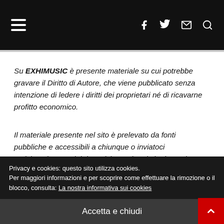EXHIMUSIC — navigation header with hamburger menu and social icons
Su EXHIMUSIC è presente materiale su cui potrebbe gravare il Diritto di Autore, che viene pubblicato senza intenzione di ledere i diritti dei proprietari né di ricavarne profitto economico.
Il materiale presente nel sito è prelevato da fonti pubbliche e accessibili a chiunque o inviatoci amichevolmente dai rispettivi proprietari che in qualunque momento possono chiederne l'immediata rimozione.
Privacy e cookies: questo sito utilizza cookies. Per maggiori informazioni e per scoprire come effettuare la rimozione o il blocco, consulta: La nostra informativa sui cookies
Accetta e chiudi